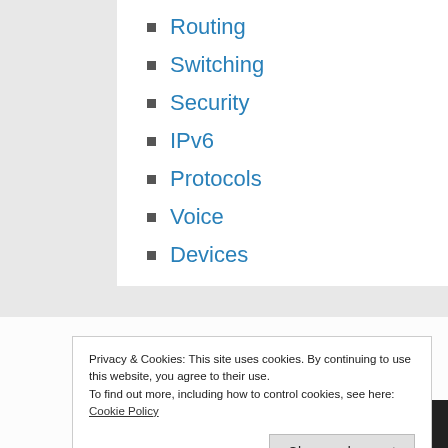Routing
Switching
Security
IPv6
Protocols
Voice
Devices
Privacy & Cookies: This site uses cookies. By continuing to use this website, you agree to their use.
To find out more, including how to control cookies, see here: Cookie Policy
Close and accept